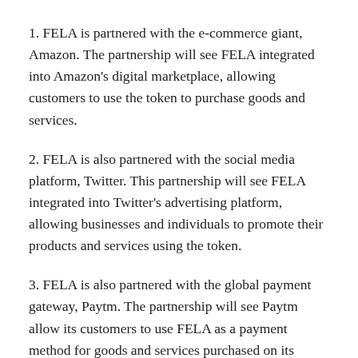1. FELA is partnered with the e-commerce giant, Amazon. The partnership will see FELA integrated into Amazon's digital marketplace, allowing customers to use the token to purchase goods and services.
2. FELA is also partnered with the social media platform, Twitter. This partnership will see FELA integrated into Twitter's advertising platform, allowing businesses and individuals to promote their products and services using the token.
3. FELA is also partnered with the global payment gateway, Paytm. The partnership will see Paytm allow its customers to use FELA as a payment method for goods and services purchased on its platform.